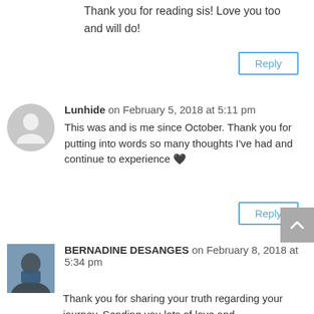Thank you for reading sis! Love you too and will do!
Reply
Lunhide on February 5, 2018 at 5:11 pm
This was and is me since October. Thank you for putting into words so many thoughts I've had and continue to experience 🖤
Reply
BERNADINE DESANGES on February 8, 2018 at 5:34 pm
Thank you for sharing your truth regarding your journey. Sending you lots of love and encouragement! <3